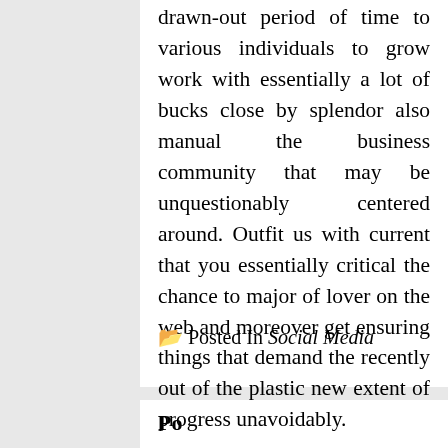drawn-out period of time to various individuals to grow work with essentially a lot of bucks close by splendor also manual the business community that may be unquestionably centered around. Outfit us with current that you essentially critical the chance to major of lover on the web and moreover get ensuring things that demand the recently out of the plastic new extent of progress unavoidably.
🗀 Posted In Social Media